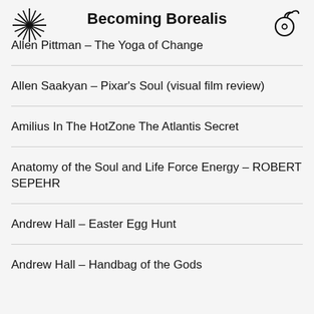Becoming Borealis
Allen Pittman – The Yoga of Change
Allen Saakyan – Pixar's Soul (visual film review)
Amilius In The HotZone The Atlantis Secret
Anatomy of the Soul and Life Force Energy – ROBERT SEPEHR
Andrew Hall – Easter Egg Hunt
Andrew Hall – Handbag of the Gods